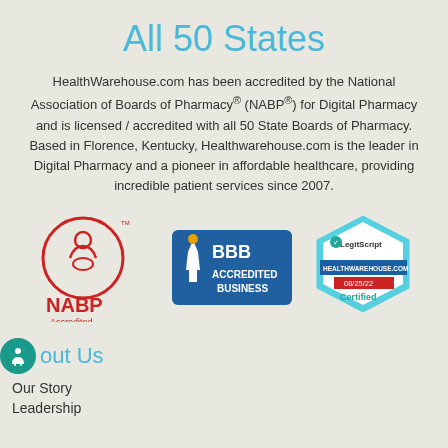All 50 States
HealthWarehouse.com has been accredited by the National Association of Boards of Pharmacy® (NABP®) for Digital Pharmacy and is licensed / accredited with all 50 State Boards of Pharmacy. Based in Florence, Kentucky, Healthwarehouse.com is the leader in Digital Pharmacy and a pioneer in affordable healthcare, providing incredible patient services since 2007.
[Figure (logo): NABP Accredited Digital Pharmacy logo - red circle with pharmacist icon, NABP text in red, Accredited Digital Pharmacy text below]
[Figure (logo): BBB Accredited Business logo - blue rectangle with BBB torch and ACCREDITED BUSINESS text in white]
[Figure (logo): LegitScript Certified badge - hexagonal cyan shape with LegitScript text, HEALTHWAREHOUSE.COM, 08/25/22, Certified]
About Us
Our Story
Leadership